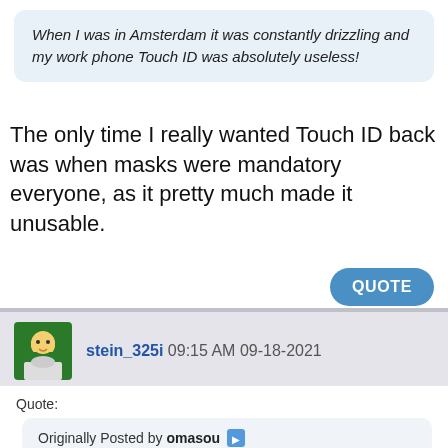When I was in Amsterdam it was constantly drizzling and my work phone Touch ID was absolutely useless!
The only time I really wanted Touch ID back was when masks were mandatory everyone, as it pretty much made it unusable.
QUOTE
stein_325i 09:15 AM 09-18-2021
Quote:
Originally Posted by omasou
The low light has been drastically improving each iteration.

The cameras this year are huge!

https://appleinsider.com/articles/21...ed-camera-bump